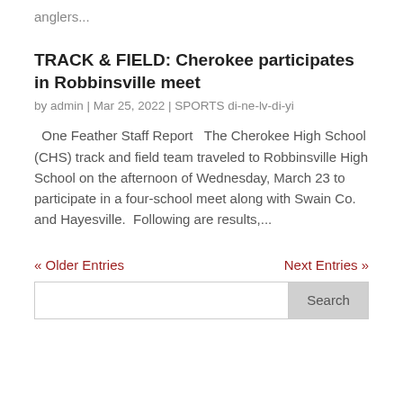anglers...
TRACK & FIELD: Cherokee participates in Robbinsville meet
by admin | Mar 25, 2022 | SPORTS di-ne-lv-di-yi
One Feather Staff Report   The Cherokee High School (CHS) track and field team traveled to Robbinsville High School on the afternoon of Wednesday, March 23 to participate in a four-school meet along with Swain Co. and Hayesville.  Following are results,...
« Older Entries    Next Entries »